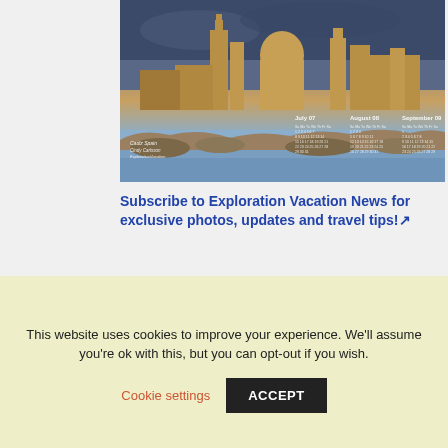[Figure (photo): Aerial/waterfront view of Cadiz, Spain showing cathedral with dome and historic buildings along rocky coastline, with small calendar overlays for July, August, September and caption 'Cadiz Spain, Cindy Carlsson, ExplorationVacation']
Subscribe to Exploration Vacation News for exclusive photos, updates and travel tips!↗
Purchase your favorite photos
Many of my images are available as fine art prints.↗
This website uses cookies to improve your experience. We'll assume you're ok with this, but you can opt-out if you wish.
Cookie settings
ACCEPT